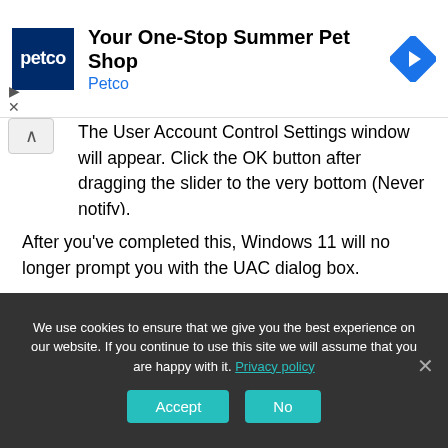[Figure (screenshot): Petco ad banner: Petco logo (dark blue square with 'petco' text), headline 'Your One-Stop Summer Pet Shop', subtext 'Petco', blue arrow navigation icon on the right. Ad controls (play/X) on left.]
The User Account Control Settings window will appear. Click the OK button after dragging the slider to the very bottom (Never notify).
After you've completed this, Windows 11 will no longer prompt you with the UAC dialog box.
If you want to see the UAC prompt, repeat the steps above and move the slider upward in step 3. Then press OK.
We use cookies to ensure that we give you the best experience on our website. If you continue to use this site we will assume that you are happy with it. Privacy policy